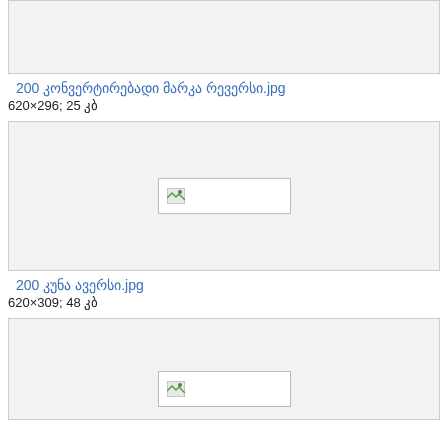[Figure (other): Top image box (partially visible, cut off at top) - gray background placeholder]
200 კონვერტირებადი მარკა რევერსი.jpg
620×296; 25 კბ
[Figure (other): Middle image box with broken image icon placeholder, gray background]
200 კუნა ავერსი.jpg
620×309; 48 კბ
[Figure (other): Bottom image box (partially visible) with broken image icon placeholder, gray background]